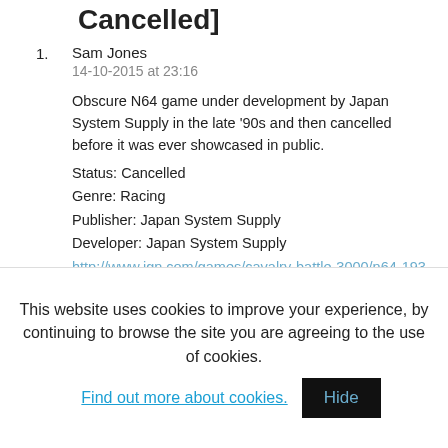Cancelled]
1. Sam Jones
14-10-2015 at 23:16

Obscure N64 game under development by Japan System Supply in the late '90s and then cancelled before it was ever showcased in public.
Status: Cancelled
Genre: Racing
Publisher: Japan System Supply
Developer: Japan System Supply
http://www.ign.com/games/cavalry-battle-3000/n64-1936

Pic without text: http://www.x-cult.org/images/games/1450/Cavalry_Battle_3
This website uses cookies to improve your experience, by continuing to browse the site you are agreeing to the use of cookies. Find out more about cookies.